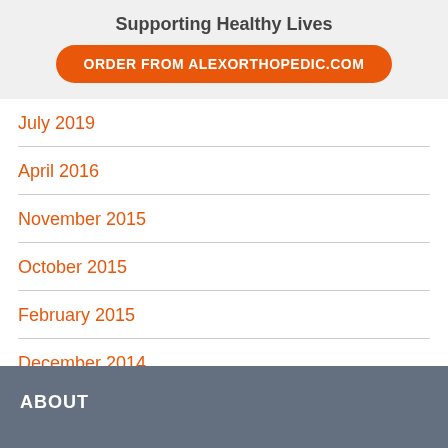Supporting Healthy Lives
ORDER FROM ALEXORTHOPEDIC.COM
July 2019
April 2016
November 2015
October 2015
February 2015
December 2014
ABOUT